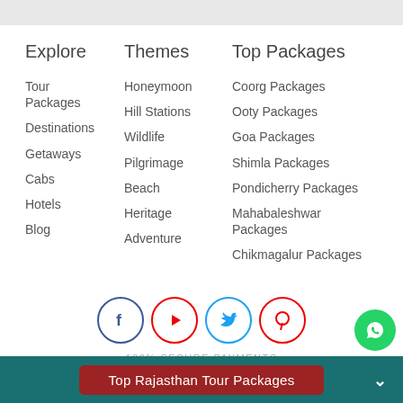Explore
Tour Packages
Destinations
Getaways
Cabs
Hotels
Blog
Themes
Honeymoon
Hill Stations
Wildlife
Pilgrimage
Beach
Heritage
Adventure
Top Packages
Coorg Packages
Ooty Packages
Goa Packages
Shimla Packages
Pondicherry Packages
Mahabaleshwar Packages
Chikmagalur Packages
[Figure (infographic): Social media icons: Facebook, YouTube, Twitter, Pinterest]
100% SECURE PAYMENTS
[Figure (logo): Powered by CCAvenue logo]
Top Rajasthan Tour Packages